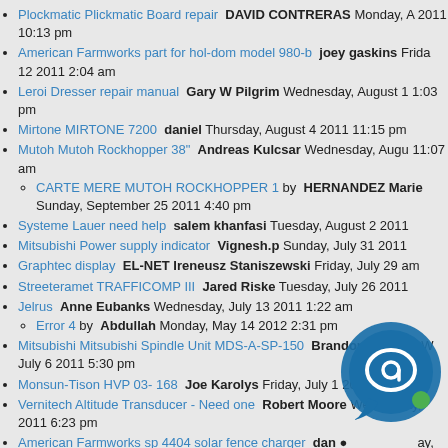Plockmatic Plickmatic Board repair  DAVID CONTRERAS  Monday, A 2011 10:13 pm
American Farmworks part for hol-dom model 980-b  joey gaskins  Friday, 12 2011 2:04 am
Leroi Dresser repair manual  Gary W Pilgrim  Wednesday, August 1 1:03 pm
Mirtone MIRTONE 7200  daniel  Thursday, August 4 2011 11:15 pm
Mutoh Mutoh Rockhopper 38"  Andreas Kulcsar  Wednesday, Augu 11:07 am
CARTE MERE MUTOH ROCKHOPPER 1 by  HERNANDEZ Marie  Sunday, September 25 2011 4:40 pm
Systeme Lauer need help  salem khanfasi  Tuesday, August 2 2011
Mitsubishi Power supply indicator  Vignesh.p  Sunday, July 31 2011
Graphtec display  EL-NET Ireneusz Staniszewski  Friday, July 29 am
Streeteramet TRAFFICOMP III  Jared Riske  Tuesday, July 26 2011
Jelrus  Anne Eubanks  Wednesday, July 13 2011 1:22 am
Error 4 by  Abdullah  Monday, May 14 2012 2:31 pm
Mitsubishi Mitsubishi Spindle Unit MDS-A-SP-150  Brandon Graham W July 6 2011 5:30 pm
Monsun-Tison HVP 03-168  Joe Karolys  Friday, July 1 2011 7:34 p
Vernitech Altitude Transducer - Need one  Robert Moore  Wednesday, 2011 6:23 pm
American Farmworks sp 4404 solar fence charger  dan  day, 2011 11:50 pm
Pinnacle Systems Video Board Repair  Dan Potts  Monday, June 20 2 pm